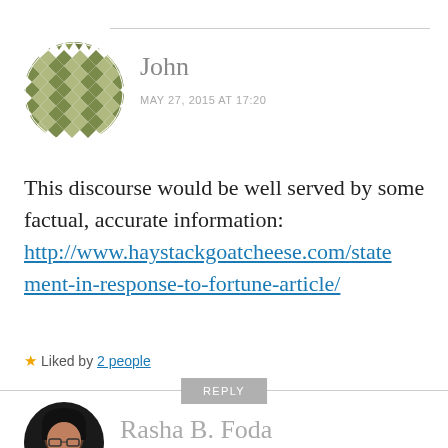[Figure (illustration): Round avatar with geometric olive/khaki diamond/triangle mosaic pattern for commenter John]
John
MAY 27, 2015 AT 17:20
This discourse would be well served by some factual, accurate information: http://www.haystackgoatcheese.com/statement-in-response-to-fortune-article/
★ Liked by 2 people
REPLY
[Figure (photo): Round avatar photo of Rasha B. Foda, a woman with dark hair and glasses]
Rasha B. Foda